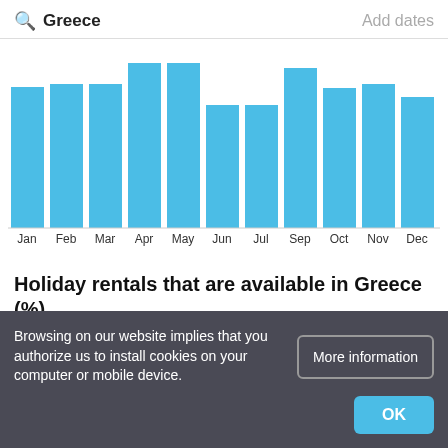Greece | Add dates
[Figure (bar-chart): Average nightly price by month (Greece)]
Holiday rentals that are available in Greece (%)
Browsing on our website implies that you authorize us to install cookies on your computer or mobile device.
More information
OK